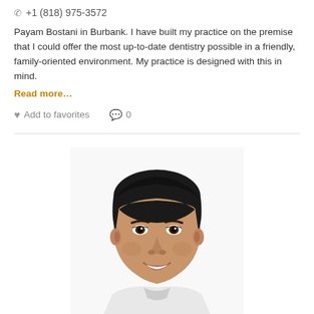+1 (818) 975-3572
Payam Bostani in Burbank. I have built my practice on the premise that I could offer the most up-to-date dentistry possible in a friendly, family-oriented environment. My practice is designed with this in mind.
Read more…
Add to favorites   0
[Figure (photo): Headshot photo of a middle-aged man with dark hair, smiling, wearing a white coat, against a white background.]